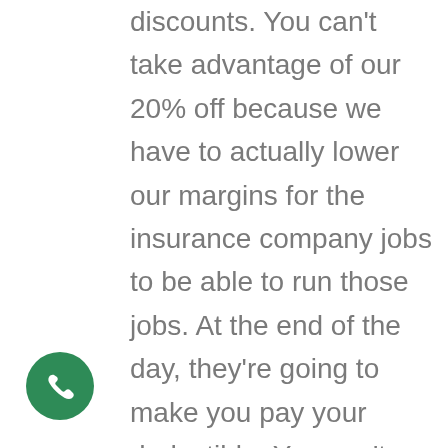discounts. You can't take advantage of our 20% off because we have to actually lower our margins for the insurance company jobs to be able to run those jobs. At the end of the day, they're going to make you pay your deductible. You can't go out and get a discount on your deductible. So, if you're not an insurance job, you could get a full 20% off the labor material on your new roof, metal or shingle, and we're giving 20% off on a repair roof too and a tune up. And
[Figure (other): Green circular phone call button icon in the bottom-left corner]